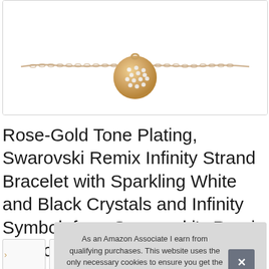[Figure (photo): Product photo of a rose-gold tone bracelet with a crystal pavé ball pendant, shown cropped at the top on a white background with a light gray rounded-rectangle border.]
Rose-Gold Tone Plating, Swarovski Remix Infinity Strand Bracelet with Sparkling White and Black Crystals and Infinity Symbol, from Swarovski's Remix Collection
As an Amazon Associate I earn from qualifying purchases. This website uses the only necessary cookies to ensure you get the best experience on our website. More information